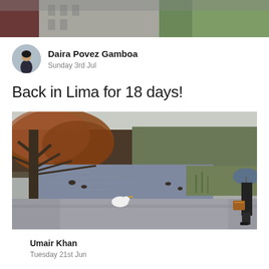[Figure (photo): Top banner photo showing urban street scene with buildings]
Daira Povez Gamboa
Sunday 3rd Jul
Back in Lima for 18 days!
[Figure (photo): Park scene with a lake, autumn trees with red/brown leaves, a swan in the water, and a person holding a blue umbrella with a brown leather bag]
Umair Khan
Tuesday 21st Jun